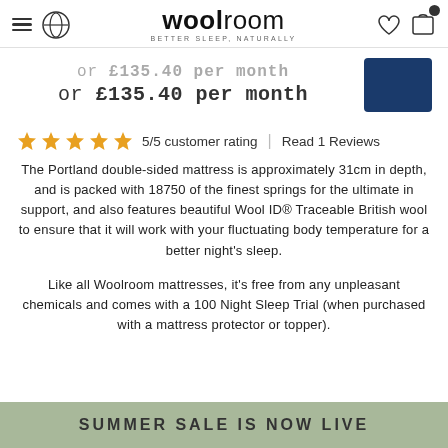woolroom — BETTER SLEEP, NATURALLY
or £135.40 per month or £135.40 per month
5/5 customer rating | Read 1 Reviews
The Portland double-sided mattress is approximately 31cm in depth, and is packed with 18750 of the finest springs for the ultimate in support, and also features beautiful Wool ID® Traceable British wool to ensure that it will work with your fluctuating body temperature for a better night's sleep.
Like all Woolroom mattresses, it's free from any unpleasant chemicals and comes with a 100 Night Sleep Trial (when purchased with a mattress protector or topper).
SUMMER SALE IS NOW LIVE